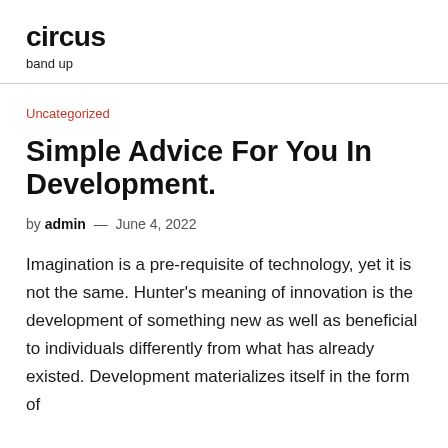circus
band up
Uncategorized
Simple Advice For You In Development.
by admin — June 4, 2022
Imagination is a pre-requisite of technology, yet it is not the same. Hunter's meaning of innovation is the development of something new as well as beneficial to individuals differently from what has already existed. Development materializes itself in the form of...